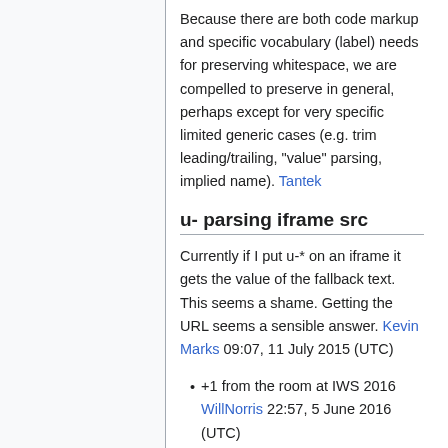Because there are both code markup and specific vocabulary (label) needs for preserving whitespace, we are compelled to preserve in general, perhaps except for very specific limited generic cases (e.g. trim leading/trailing, "value" parsing, implied name). Tantek
u- parsing iframe src
Currently if I put u-* on an iframe it gets the value of the fallback text. This seems a shame. Getting the URL seems a sensible answer. Kevin Marks 09:07, 11 July 2015 (UTC)
+1 from the room at IWS 2016 WillNorris 22:57, 5 June 2016 (UTC)
i- parsing iframe src
More controversially, what about using